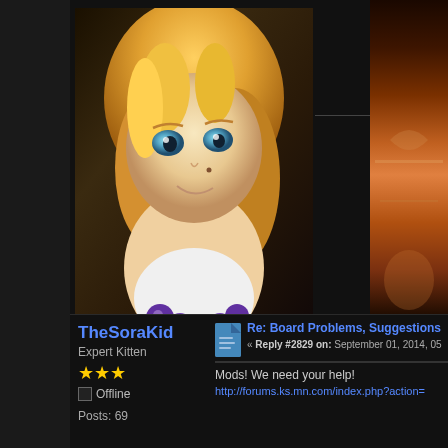[Figure (illustration): Anime character avatar - blonde hair, blue eyes, purple armor beads]
[Figure (illustration): Partial image of another post on the right side - warm orange/brown tones]
*
[Figure (infographic): Awards box with 4 circular icons: red flame/monster, gray creature, blue-gray sphere, gray target]
[Figure (infographic): User icons row: blue person, globe, star award, red circle]
TheSoraKid
Expert Kitten
★★★
Offline
Posts: 69
Re: Board Problems, Suggestions
« Reply #2829 on: September 01, 2014, 05
Mods! We need your help!
http://forums.ks.mn.com/index.php?action=